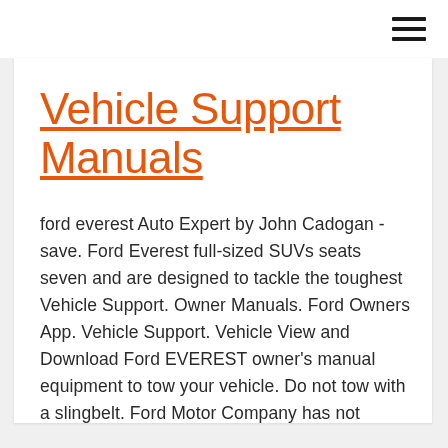Vehicle Support Manuals
ford everest Auto Expert by John Cadogan - save. Ford Everest full-sized SUVs seats seven and are designed to tackle the toughest Vehicle Support. Owner Manuals. Ford Owners App. Vehicle Support. Vehicle View and Download Ford EVEREST owner's manual equipment to tow your vehicle. Do not tow with a slingbelt. Ford Motor Company has not support, see an